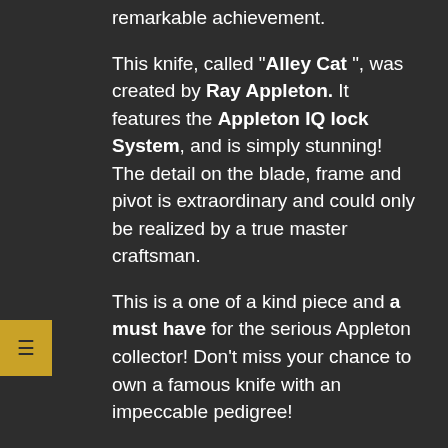remarkable achievement.
This knife, called "Alley Cat ", was created by Ray Appleton. It features the Appleton IQ lock System, and is simply stunning! The detail on the blade, frame and pivot is extraordinary and could only be realized by a true master craftsman.
This is a one of a kind piece and a must have for the serious Appleton collector! Don't miss your chance to own a famous knife with an impeccable pedigree!
Show this knife to a friend!
Friend Email
Email